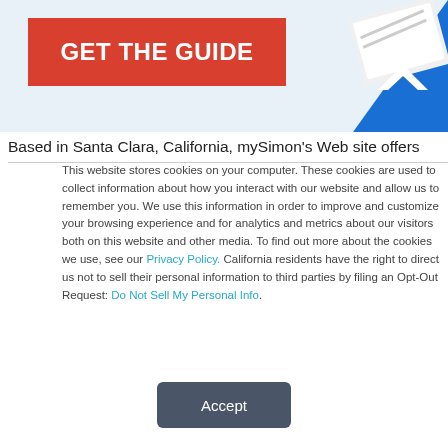[Figure (illustration): Light blue banner background with a red button labeled GET THE GUIDE and a blue envelope graphic on the right side]
Based in Santa Clara, California, mySimon's Web site offers
This website stores cookies on your computer. These cookies are used to collect information about how you interact with our website and allow us to remember you. We use this information in order to improve and customize your browsing experience and for analytics and metrics about our visitors both on this website and other media. To find out more about the cookies we use, see our Privacy Policy. California residents have the right to direct us not to sell their personal information to third parties by filing an Opt-Out Request: Do Not Sell My Personal Info.
Accept